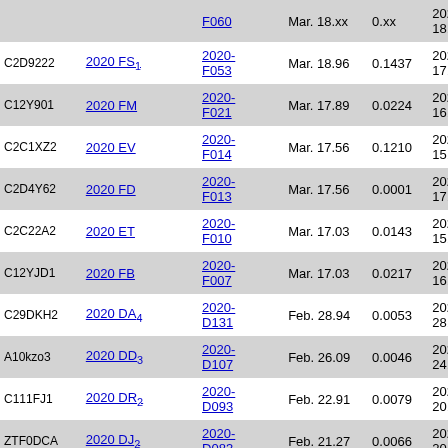| ID | Name | Code | Month | Mag | Date | Time |
| --- | --- | --- | --- | --- | --- | --- |
|  |  | F060 | Mar. 18.xx | 0.xx | 2020-03-
18.92260 | ... |
| C2D9222 | 2020 FS₁ | 2020-F053 | Mar. 18.96 | 0.1437 | 2020-03-
17.86361 | 11:37:0 |
| C12Y901 | 2020 FM | 2020-F021 | Mar. 17.89 | 0.0224 | 2020-03-
16.90041 | 09:01:2 |
| C2C1XZ2 | 2020 EV | 2020-F014 | Mar. 17.56 | 0.1210 | 2020-03-
15.88845 | 11:41:5 |
| C2D4Y62 | 2020 FD | 2020-F013 | Mar. 17.56 | 0.0001 | 2020-03-
17.00059 | 12:43:1 |
| C2C22A2 | 2020 ET | 2020-F010 | Mar. 17.03 | 0.0143 | 2020-03-
15.87111 | 12:24:0 |
| C12YJD1 | 2020 FB | 2020-F007 | Mar. 17.03 | 0.0217 | 2020-03-
16.85416 | 09:43:4 |
| C29DKH2 | 2020 DA₄ | 2020-D131 | Feb. 28.94 | 0.0053 | 2020-02-
28.87777 | 09:20:0 |
| A10kzo3 | 2020 DD₃ | 2020-D107 | Feb. 26.09 | 0.0046 | 2020-02-
24.93848 | 09:54:2 |
| C111FJ1 | 2020 DR₂ | 2020-D093 | Feb. 22.91 | 0.0079 | 2020-02-
20.79925 | 06:09:0 |
| ZTF0DCA | 2020 DJ₂ | 2020-D083 | Feb. 21.27 | 0.0066 | 2020-02-
20.93566 | 12:51:4 |
| ZTF0DBz | 2020 DH₂ | 2020-D082 | Feb. 21.06 | 0.0152 | 2020-02-
20.94688 | 13:26:5 |